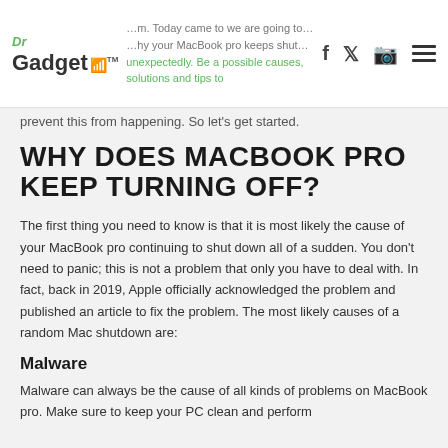Dr Gadget
unexpectedly. Be a possible causes, solutions and tips to prevent this from happening. So let's get started.
WHY DOES MACBOOK PRO KEEP TURNING OFF?
The first thing you need to know is that it is most likely the cause of your MacBook pro continuing to shut down all of a sudden. You don't need to panic; this is not a problem that only you have to deal with. In fact, back in 2019, Apple officially acknowledged the problem and published an article to fix the problem. The most likely causes of a random Mac shutdown are:
Malware
Malware can always be the cause of all kinds of problems on MacBook pro. Make sure to keep your PC clean and perform